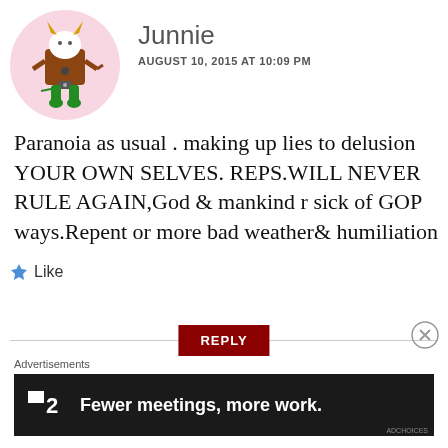[Figure (illustration): Cartoon avatar of a monster/creature character with horns, brown body, and green legs on a pink circle background]
Junnie
AUGUST 10, 2015 AT 10:09 PM
Paranoia as usual . making up lies to delusion YOUR OWN SELVES. REPS.WILL NEVER RULE AGAIN,God & mankind r sick of GOP ways.Repent or more bad weather& humiliation
Like
REPLY
Advertisements
[Figure (screenshot): Dark advertisement banner showing P2 logo with text: Fewer meetings, more work.]